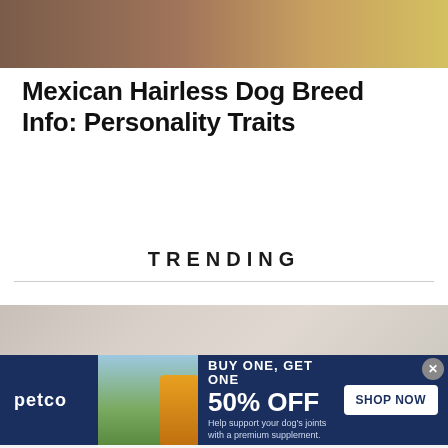[Figure (photo): Close-up photo of a Mexican Hairless dog, showing dark brown/tan skin texture with a blurred yellow-green background]
Mexican Hairless Dog Breed Info: Personality Traits
TRENDING
[Figure (photo): Partially visible photo below the TRENDING section showing a light-colored background]
[Figure (infographic): Petco advertisement banner: BUY ONE, GET ONE 50% OFF - Help support your dog's joints with a premium supplement. SHOP NOW button. Features image of woman with golden retriever and supplement bottle.]